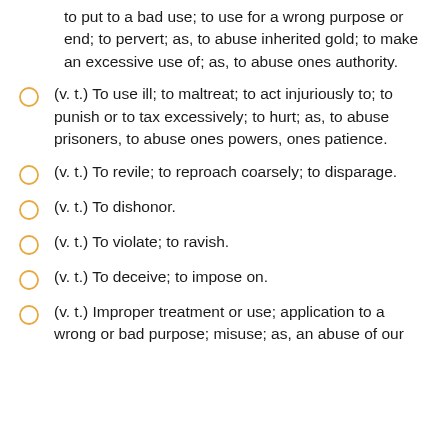to put to a bad use; to use for a wrong purpose or end; to pervert; as, to abuse inherited gold; to make an excessive use of; as, to abuse ones authority.
(v. t.) To use ill; to maltreat; to act injuriously to; to punish or to tax excessively; to hurt; as, to abuse prisoners, to abuse ones powers, ones patience.
(v. t.) To revile; to reproach coarsely; to disparage.
(v. t.) To dishonor.
(v. t.) To violate; to ravish.
(v. t.) To deceive; to impose on.
(v. t.) Improper treatment or use; application to a wrong or bad purpose; misuse; as, an abuse of our